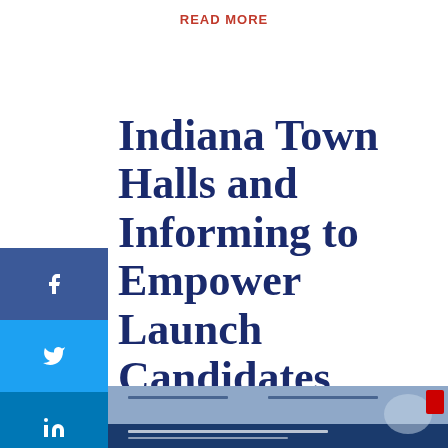READ MORE
Indiana Town Halls and Informing to Empower Launch Candidates Video Debate for Hotly Contested 5th District Primaries
May 21, 2020
[Figure (screenshot): Screenshot of a webpage or video interface related to the Indiana 5th District candidates debate, with a blue background and text about clicking on photos to view short videos of each candidate answering questions during the debate.]